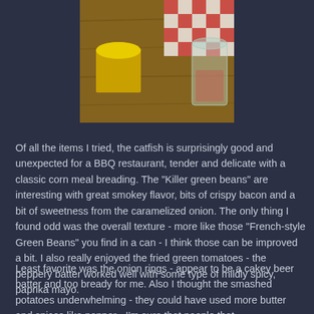[Figure (photo): Overhead view of food items on a wooden table with a red and white checkered cloth, yellow-lidded jar and glass visible]
Of all the items I tried, the catfish is surprisingly good and unexpected for a BBQ restaurant, tender and delicate with a classic corn meal breading. The "Killer green beans" are interesting with great smokey flavor, bits of crispy bacon and a bit of sweetness from the caramelized onion. The only thing I found odd was the overall texture - more like those "French-style Green Beans" you find in a can - I think those can be improved a bit. I also really enjoyed the fried green tomatoes - the peppery batter worked well with some type of mildly spicy, paprika mayo.
Least favorite was the onion rings - appear to be a cakey beer batter and too bready for me. Also I thought the smashed potatoes underwhelming - they could have used more butter and spices like pepper - I'm sure that people that